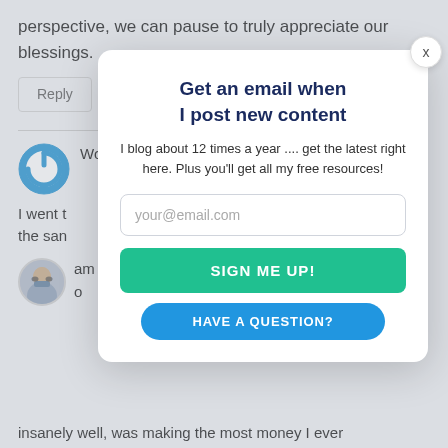perspective, we can pause to truly appreciate our blessings.
Reply
Wow C
I went t the san
am o
Get an email when I post new content
I blog about 12 times a year .... get the latest right here. Plus you'll get all my free resources!
your@email.com
SIGN ME UP!
HAVE A QUESTION?
insanely well, was making the most money I ever